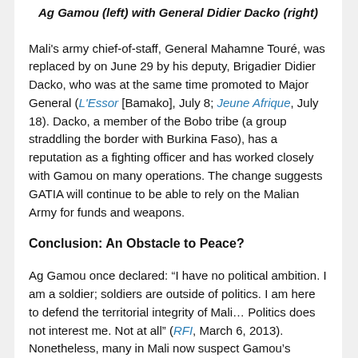Ag Gamou (left) with General Didier Dacko (right)
Mali's army chief-of-staff, General Mahamne Touré, was replaced by on June 29 by his deputy, Brigadier Didier Dacko, who was at the same time promoted to Major General (L'Essor [Bamako], July 8; Jeune Afrique, July 18). Dacko, a member of the Bobo tribe (a group straddling the border with Burkina Faso), has a reputation as a fighting officer and has worked closely with Gamou on many operations. The change suggests GATIA will continue to be able to rely on the Malian Army for funds and weapons.
Conclusion: An Obstacle to Peace?
Ag Gamou once declared: “I have no political ambition. I am a soldier; soldiers are outside of politics. I am here to defend the territorial integrity of Mali… Politics does not interest me. Not at all” (RFI, March 6, 2013). Nonetheless, many in Mali now suspect Gamou’s involvement with GATIA reflects growing political ambitions. Bamako’s inability and/or reluctance to establish control over